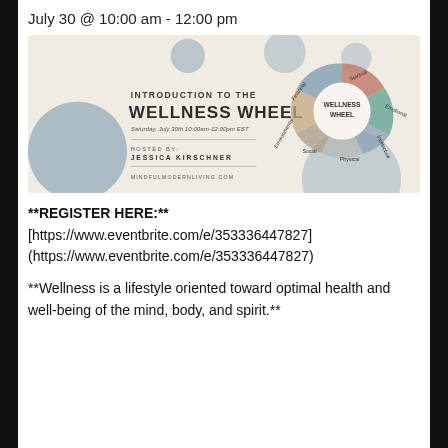July 30 @ 10:00 am - 12:00 pm
[Figure (illustration): Promotional banner for 'Introduction to the Wellness Wheel' event hosted by Jessica Kirschner. Features decorative circles in muted blue/grey tones, event details (Saturday, July 30th 10:00am-12:00pm EST), hosted by Jessica Kirschner, mindfulmodernliving.com, and a donut chart labeled 'Wellness Wheel' with segments: Spiritual, Emotional, Intellectual, Physical, Social, Environmental, Financial.]
**REGISTER HERE:**
[https://www.eventbrite.com/e/353336447827]
(https://www.eventbrite.com/e/353336447827)
**Wellness is a lifestyle oriented toward optimal health and well-being of the mind, body, and spirit.**